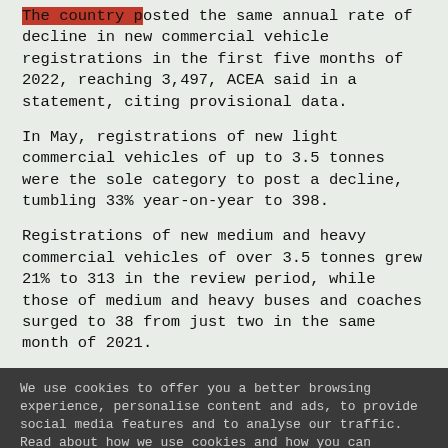The country posted the same annual rate of decline in new commercial vehicle registrations in the first five months of 2022, reaching 3,497, ACEA said in a statement, citing provisional data.
In May, registrations of new light commercial vehicles of up to 3.5 tonnes were the sole category to post a decline, tumbling 33% year-on-year to 398.
Registrations of new medium and heavy commercial vehicles of over 3.5 tonnes grew 21% to 313 in the review period, while those of medium and heavy buses and coaches surged to 38 from just two in the same month of 2021.
A total of 280 heavy commercial vehicles of 16 tonnes and over were registered in Bulgaria in May, which was an annual increase of 12%.
In the EU, new commercial vehicle registrations underwent a decline for the eleventh straight month, slipping back by 18% to 136,410 as all key EU markets -- such as France,
We use cookies to offer you a better browsing experience, personalise content and ads, to provide social media features and to analyse our traffic. Read about how we use cookies and how you can control them by